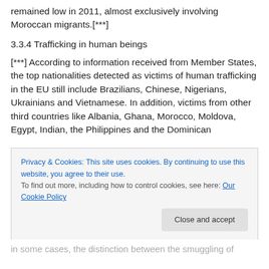remained low in 2011, almost exclusively involving Moroccan migrants.[***]
3.3.4 Trafficking in human beings
[***] According to information received from Member States, the top nationalities detected as victims of human trafficking in the EU still include Brazilians, Chinese, Nigerians, Ukrainians and Vietnamese. In addition, victims from other third countries like Albania, Ghana, Morocco, Moldova, Egypt, Indian, the Philippines and the Dominican
Privacy & Cookies: This site uses cookies. By continuing to use this website, you agree to their use.
To find out more, including how to control cookies, see here: Our Cookie Policy
Close and accept
in some cases, the distinction between the smuggling of